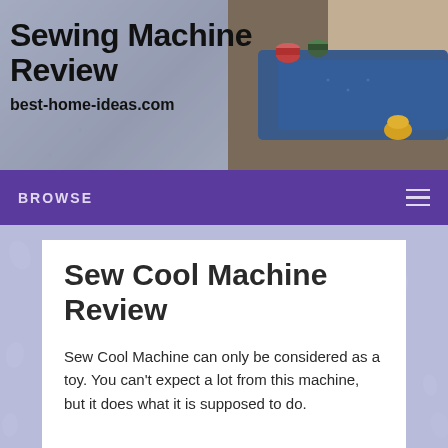Sewing Machine Review
best-home-ideas.com
[Figure (photo): Photo of sewing supplies including spools of thread, blue denim fabric, and a thimble on a table]
BROWSE
Sew Cool Machine Review
Sew Cool Machine can only be considered as a toy. You can’t expect a lot from this machine, but it does what it is supposed to do.